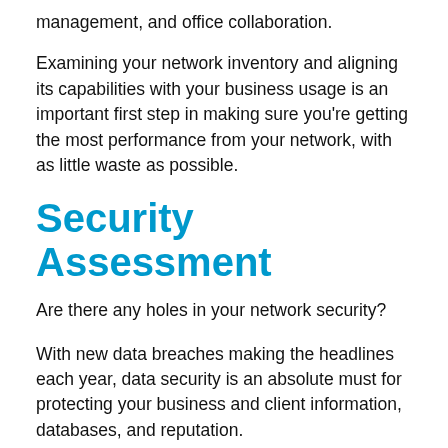management, and office collaboration.
Examining your network inventory and aligning its capabilities with your business usage is an important first step in making sure you're getting the most performance from your network, with as little waste as possible.
Security Assessment
Are there any holes in your network security?
With new data breaches making the headlines each year, data security is an absolute must for protecting your business and client information, databases, and reputation.